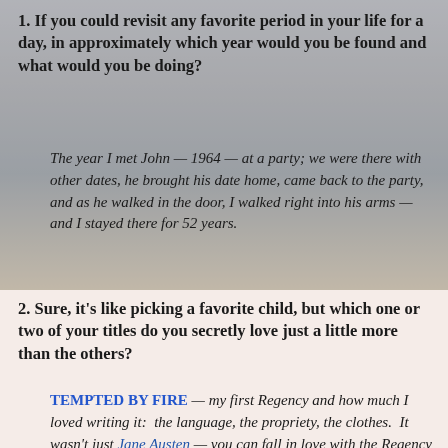1. If you could revisit any favorite period in your life for a day, in approximately which year would you be found and what would you be doing?
The year I met John — 1964 — at a party; we were there with other dates, he brought his date home, came back to the party, and as he walked in the door, I walked right into his arms — and I stayed there for 52 years.
2. Sure, it's like picking a favorite child, but which one or two of your titles do you secretly love just a little more than the others?
TEMPTED BY FIRE — my first Regency and how much I loved writing it:  the language, the propriety, the clothes.  It wasn't just Jane Austen — you can fall in love with the Regency period all